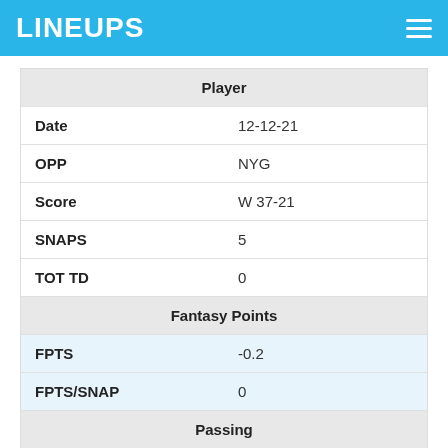LINEUPS
| Player |  |
| --- | --- |
| Date | 12-12-21 |
| OPP | NYG |
| Score | W 37-21 |
| SNAPS | 5 |
| TOT TD | 0 |
| Fantasy Points |  |
| FPTS | -0.2 |
| FPTS/SNAP | 0 |
| Passing |  |
| ATT | 0 |
| COMP | 0 |